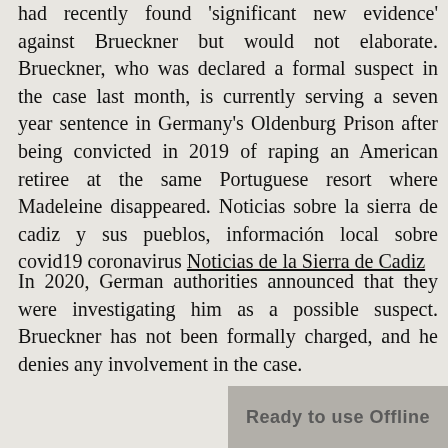had recently found 'significant new evidence' against Brueckner but would not elaborate. Brueckner, who was declared a formal suspect in the case last month, is currently serving a seven year sentence in Germany's Oldenburg Prison after being convicted in 2019 of raping an American retiree at the same Portuguese resort where Madeleine disappeared. Noticias sobre la sierra de cadiz y sus pueblos, información local sobre covid19 coronavirus Noticias de la Sierra de Cadiz
In 2020, German authorities announced that they were investigating him as a possible suspect. Brueckner has not been formally charged, and he denies any involvement in the case.